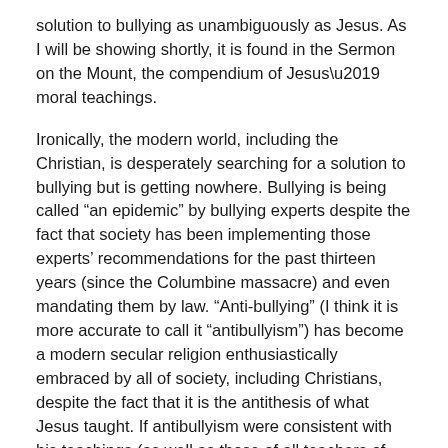solution to bullying as unambiguously as Jesus. As I will be showing shortly, it is found in the Sermon on the Mount, the compendium of Jesus' moral teachings.
Ironically, the modern world, including the Christian, is desperately searching for a solution to bullying but is getting nowhere. Bullying is being called “an epidemic” by bullying experts despite the fact that society has been implementing those experts’ recommendations for the past thirteen years (since the Columbine massacre) and even mandating them by law. “Anti-bullying” (I think it is more accurate to call it “antibullyism”) has become a modern secular religion enthusiastically embraced by all of society, including Christians, despite the fact that it is the antithesis of what Jesus taught. If antibullyism were consistent with his teachings (as well as those of all teachers of peace, of course) it would be successful.